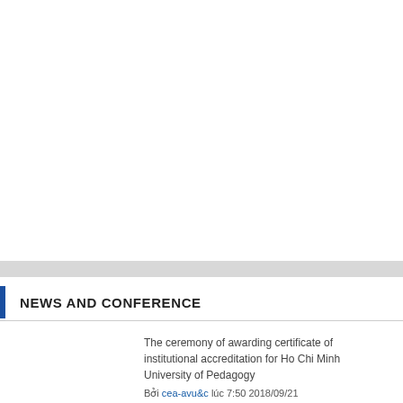NEWS AND CONFERENCE
The ceremony of awarding certificate of institutional accreditation for Ho Chi Minh University of Pedagogy
Bởi cea-avu&c lúc 7:50 2018/09/21